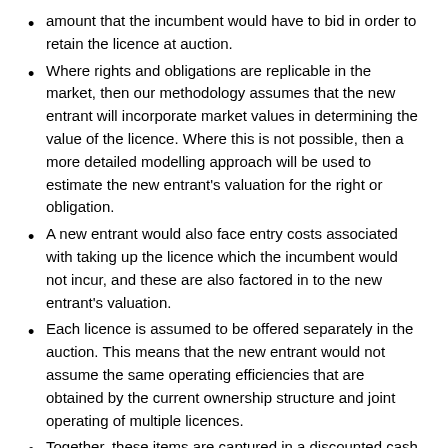amount that the incumbent would have to bid in order to retain the licence at auction.
Where rights and obligations are replicable in the market, then our methodology assumes that the new entrant will incorporate market values in determining the value of the licence. Where this is not possible, then a more detailed modelling approach will be used to estimate the new entrant's valuation for the right or obligation.
A new entrant would also face entry costs associated with taking up the licence which the incumbent would not incur, and these are also factored in to the new entrant's valuation.
Each licence is assumed to be offered separately in the auction. This means that the new entrant would not assume the same operating efficiencies that are obtained by the current ownership structure and joint operating of multiple licences.
Together, these items are captured in a discounted cash